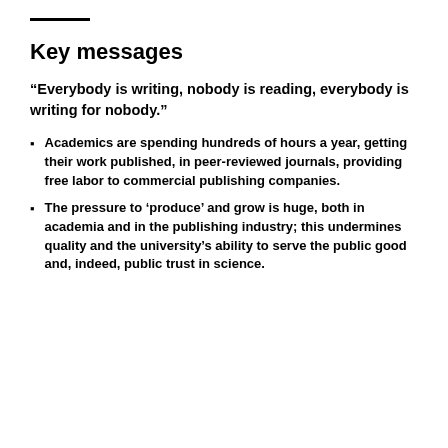Key messages
“Everybody is writing, nobody is reading, everybody is writing for nobody.”
Academics are spending hundreds of hours a year, getting their work published, in peer-reviewed journals, providing free labor to commercial publishing companies.
The pressure to ‘produce’ and grow is huge, both in academia and in the publishing industry; this undermines quality and the university’s ability to serve the public good and, indeed, public trust in science.